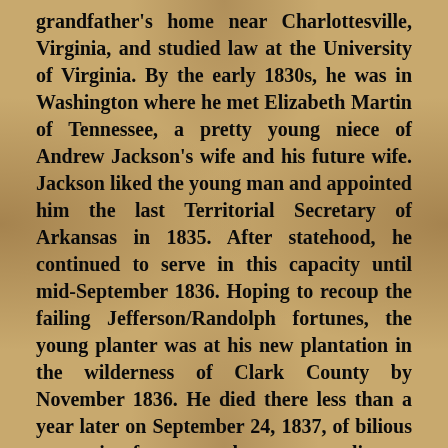grandfather's home near Charlottesville, Virginia, and studied law at the University of Virginia. By the early 1830s, he was in Washington where he met Elizabeth Martin of Tennessee, a pretty young niece of Andrew Jackson's wife and his future wife. Jackson liked the young man and appointed him the last Territorial Secretary of Arkansas in 1835. After statehood, he continued to serve in this capacity until mid-September 1836. Hoping to recoup the failing Jefferson/Randolph fortunes, the young planter was at his new plantation in the wilderness of Clark County by November 1836. He died there less than a year later on September 24, 1837, of bilious congestive fever--now known as malignant malaria. He was four months